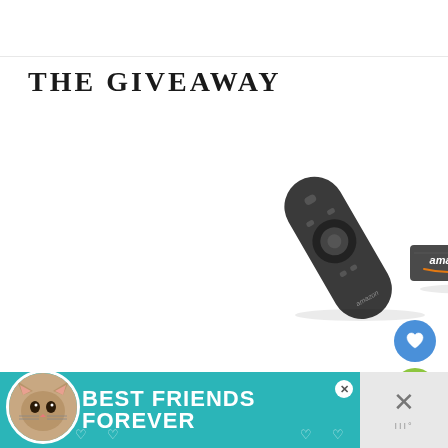THE GIVEAWAY
[Figure (photo): Amazon Fire TV Stick with Alexa Voice Remote — a dark grey HDMI streaming stick with the Amazon logo and a matching dark grey remote control, both photographed on a white background]
[Figure (infographic): Social action buttons: blue heart/like button, green pill showing count 39, green share button]
BEST FRIENDS FOREVER — advertisement banner with cat image and decorative hearts